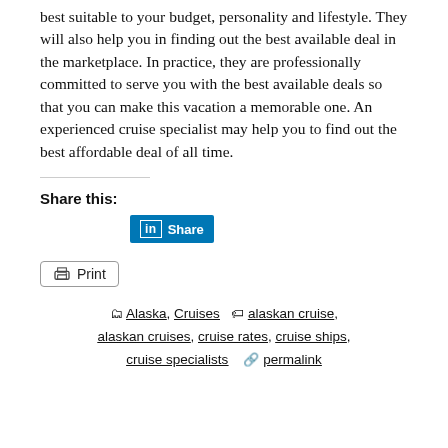best suitable to your budget, personality and lifestyle. They will also help you in finding out the best available deal in the marketplace. In practice, they are professionally committed to serve you with the best available deals so that you can make this vacation a memorable one. An experienced cruise specialist may help you to find out the best affordable deal of all time.
Share this:
[Figure (other): LinkedIn Share button (blue)]
[Figure (other): Print button with printer icon]
Alaska, Cruises  alaskan cruise, alaskan cruises, cruise rates, cruise ships, cruise specialists  permalink